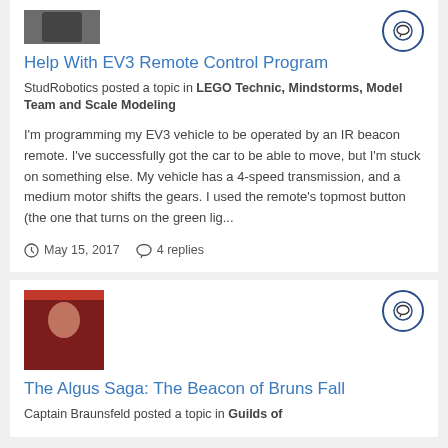[Figure (photo): User avatar thumbnail cropped at top]
Help With EV3 Remote Control Program
StudRobotics posted a topic in LEGO Technic, Mindstorms, Model Team and Scale Modeling
I'm programming my EV3 vehicle to be operated by an IR beacon remote. I've successfully got the car to be able to move, but I'm stuck on something else. My vehicle has a 4-speed transmission, and a medium motor shifts the gears. I used the remote's topmost button (the one that turns on the green lig...
May 15, 2017   4 replies
[Figure (photo): User avatar thumbnail showing a person]
The Algus Saga: The Beacon of Bruns Fall
Captain Braunsfeld posted a topic in Guilds of